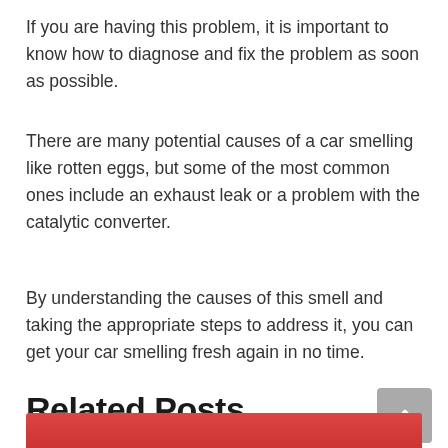If you are having this problem, it is important to know how to diagnose and fix the problem as soon as possible.
There are many potential causes of a car smelling like rotten eggs, but some of the most common ones include an exhaust leak or a problem with the catalytic converter.
By understanding the causes of this smell and taking the appropriate steps to address it, you can get your car smelling fresh again in no time.
Related Posts
[Figure (photo): Partial image strip visible at bottom of page, appears to show a person or face with red tones]